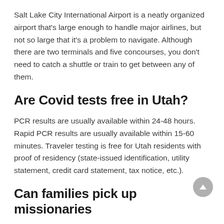Salt Lake City International Airport is a neatly organized airport that's large enough to handle major airlines, but not so large that it's a problem to navigate. Although there are two terminals and five concourses, you don't need to catch a shuttle or train to get between any of them.
Are Covid tests free in Utah?
PCR results are usually available within 24-48 hours. Rapid PCR results are usually available within 15-60 minutes. Traveler testing is free for Utah residents with proof of residency (state-issued identification, utility statement, credit card statement, tax notice, etc.).
Can families pick up missionaries